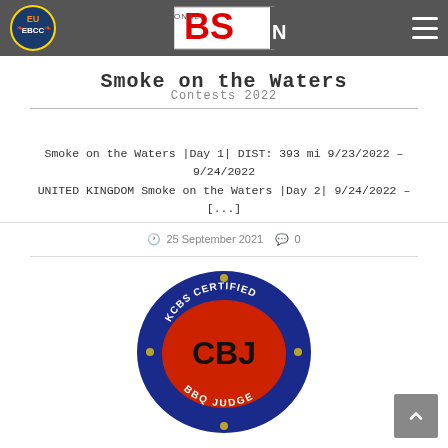EU EBCC logo | BSN logo | hamburger menu
Smoke on the Waters
Contests 2022
Smoke on the Waters |Day 1| DIST: 393 mi 9/23/2022 – 9/24/2022 UNITED KINGDOM Smoke on the Waters |Day 2| 9/24/2022 – [...]
25 September 2021  0
[Figure (photo): A round blue and red BBQ Judge pin/badge with text 'KCBS CERTIFIED' at the top, 'CBJ' in the center, and 'BBQ JUDGE' at the bottom]